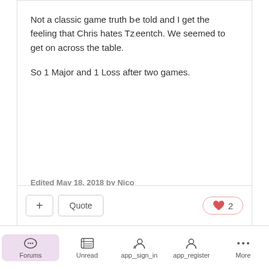Not a classic game truth be told and I get the feeling that Chris hates Tzeentch. We seemed to get on across the table.

So 1 Major and 1 Loss after two games.
Edited May 18, 2018 by Nico
+ Quote  ❤ 2
Forums  Unread  app_sign_in  app_register  More